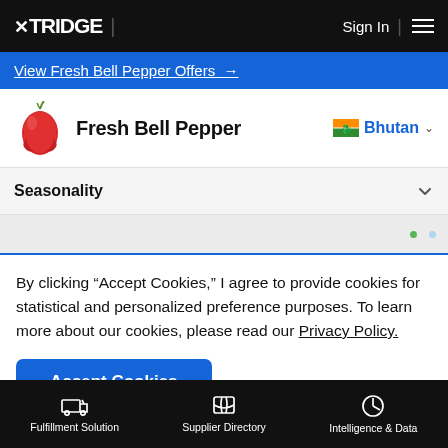XTRIDGE | Sign In
View Fresh Bell Pepper Offers →
Fresh Bell Pepper — Bhutan
Seasonality
By clicking "Accept Cookies," I agree to provide cookies for statistical and personalized preference purposes. To learn more about our cookies, please read our Privacy Policy.
Accept Cookies
Fulfillment Solution | Supplier Directory | Intelligence & Data